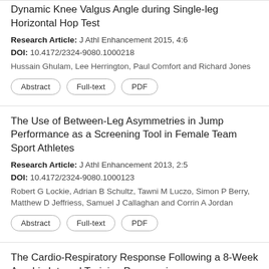Dynamic Knee Valgus Angle during Single-leg Horizontal Hop Test
Research Article: J Athl Enhancement 2015, 4:6
DOI: 10.4172/2324-9080.1000218
Hussain Ghulam, Lee Herrington, Paul Comfort and Richard Jones
Abstract | Full-text | PDF
The Use of Between-Leg Asymmetries in Jump Performance as a Screening Tool in Female Team Sport Athletes
Research Article: J Athl Enhancement 2013, 2:5
DOI: 10.4172/2324-9080.1000123
Robert G Lockie, Adrian B Schultz, Tawni M Luczo, Simon P Berry, Matthew D Jeffriess, Samuel J Callaghan and Corrin A Jordan
Abstract | Full-text | PDF
The Cardio-Respiratory Response Following a 8-Week Aerobic Interval Training Program in